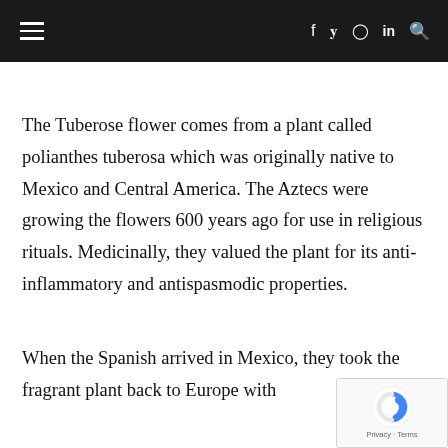≡ f 𝕥 ⊙ in 🔍
The Tuberose flower comes from a plant called polianthes tuberosa which was originally native to Mexico and Central America. The Aztecs were growing the flowers 600 years ago for use in religious rituals. Medicinally, they valued the plant for its anti-inflammatory and antispasmodic properties.
When the Spanish arrived in Mexico, they took the fragrant plant back to Europe with